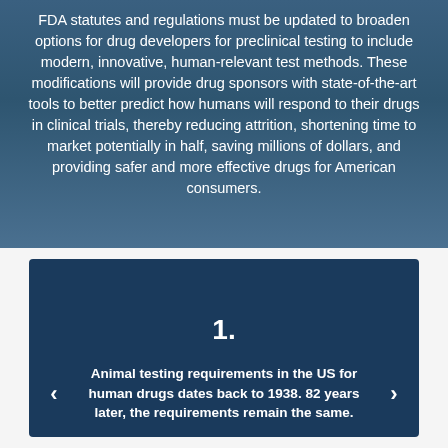FDA statutes and regulations must be updated to broaden options for drug developers for preclinical testing to include modern, innovative, human-relevant test methods. These modifications will provide drug sponsors with state-of-the-art tools to better predict how humans will respond to their drugs in clinical trials, thereby reducing attrition, shortening time to market potentially in half, saving millions of dollars, and providing safer and more effective drugs for American consumers.
[Figure (infographic): Dark blue card with the number '1.' centered above navigation arrows and bold white text reading: Animal testing requirements in the US for human drugs dates back to 1938. 82 years later, the requirements remain the same.]